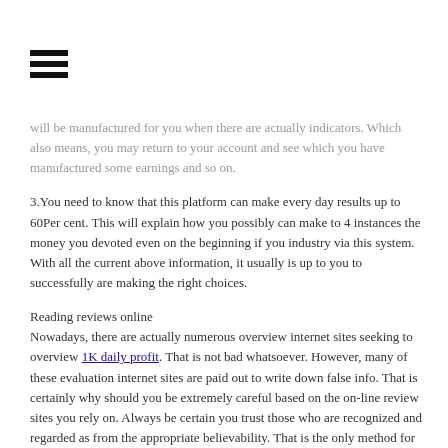[Figure (other): Hamburger menu icon — three horizontal black bars]
will be manufactured for you when there are actually indicators. Which also means, you may return to your account and see which you have manufactured some earnings and so on.
3.You need to know that this platform can make every day results up to 60Per cent. This will explain how you possibly can make to 4 instances the money you devoted even on the beginning if you industry via this system.
With all the current above information, it usually is up to you to successfully are making the right choices.
Reading reviews online
Nowadays, there are actually numerous overview internet sites seeking to overview 1K daily profit. That is not bad whatsoever. However, many of these evaluation internet sites are paid out to write down false info. That is certainly why should you be extremely careful based on the on-line review sites you rely on. Always be certain you trust those who are recognized and regarded as from the appropriate believability. That is the only method for you to profit from the data they provide.